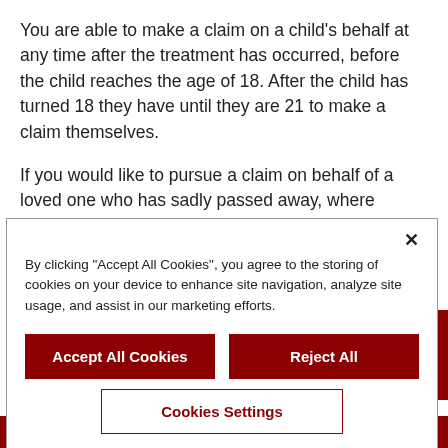You are able to make a claim on a child's behalf at any time after the treatment has occurred, before the child reaches the age of 18. After the child has turned 18 they have until they are 21 to make a claim themselves.
If you would like to pursue a claim on behalf of a loved one who has sadly passed away, where treatment has
[Figure (screenshot): Cookie consent modal dialog with close button (×), explanatory text about cookies, and three buttons: 'Accept All Cookies' (dark red filled), 'Reject All' (dark red filled), and 'Cookies Settings' (outlined with dark red text).]